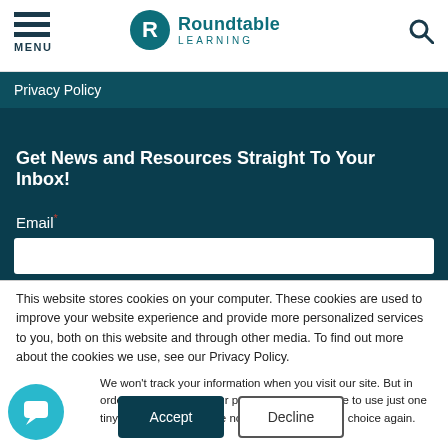[Figure (logo): Roundtable Learning logo with teal circle containing R, and text Roundtable Learning]
MENU
Privacy Policy
Get News and Resources Straight To Your Inbox!
Email*
This website stores cookies on your computer. These cookies are used to improve your website experience and provide more personalized services to you, both on this website and through other media. To find out more about the cookies we use, see our Privacy Policy.
We won't track your information when you visit our site. But in order to comply with your preferences, we'll have to use just one tiny cookie so that you're not asked to make this choice again.